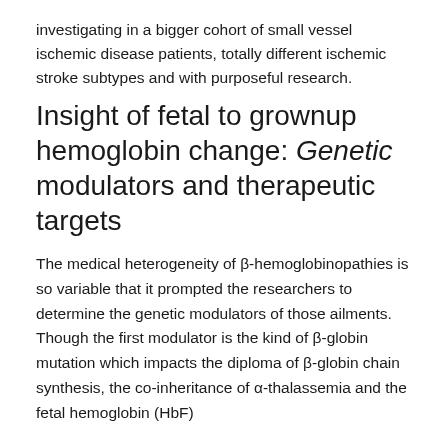investigating in a bigger cohort of small vessel ischemic disease patients, totally different ischemic stroke subtypes and with purposeful research.
Insight of fetal to grownup hemoglobin change: Genetic modulators and therapeutic targets
The medical heterogeneity of β-hemoglobinopathies is so variable that it prompted the researchers to determine the genetic modulators of those ailments. Though the first modulator is the kind of β-globin mutation which impacts the diploma of β-globin chain synthesis, the co-inheritance of α-thalassemia and the fetal hemoglobin (HbF)